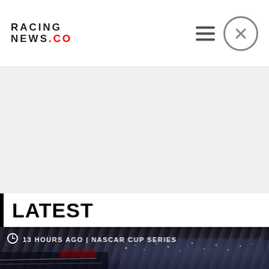RACING NEWS.CO
[Figure (other): Gray advertisement placeholder area]
LATEST
[Figure (photo): Night race aerial photo of NASCAR track with packed grandstands and racing cars on track]
13 HOURS AGO | NASCAR CUP SERIES